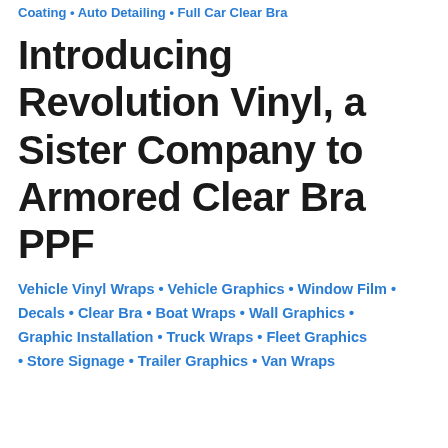Coating • Auto Detailing • Full Car Clear Bra
Introducing Revolution Vinyl, a Sister Company to Armored Clear Bra PPF
Vehicle Vinyl Wraps • Vehicle Graphics • Window Film • Decals • Clear Bra • Boat Wraps • Wall Graphics • Graphic Installation • Truck Wraps • Fleet Graphics • Store Signage • Trailer Graphics • Van Wraps